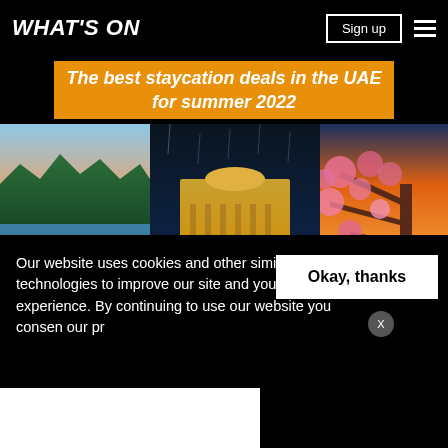WHAT'S ON
The best staycation deals in the UAE for summer 2022
[Figure (photo): Three travel destination photos side by side: a lake landscape with forest, a night view of an illuminated classical building, and a cherry blossom scene with a cityscape at sunset]
Our website uses cookies and other similar technologies to improve our site and your online experience. By continuing to use our website you consen... our pr...